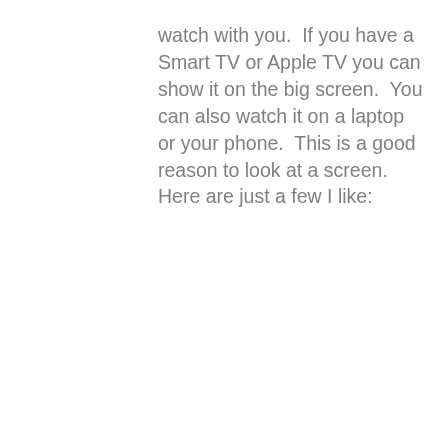watch with you.  If you have a Smart TV or Apple TV you can show it on the big screen.  You can also watch it on a laptop or your phone.  This is a good reason to look at a screen.  Here are just a few I like: